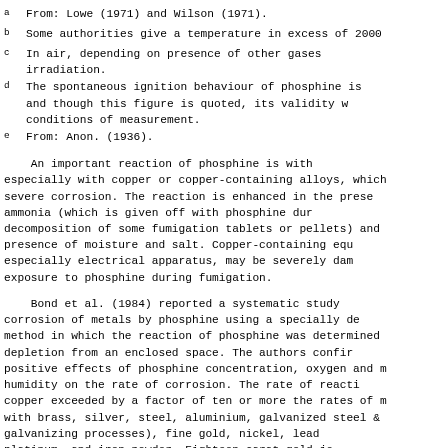a  From: Lowe (1971) and Wilson (1971).
b  Some authorities give a temperature in excess of 2000
c  In air, depending on presence of other gases irradiation.
d  The spontaneous ignition behaviour of phosphine is and though this figure is quoted, its validity w conditions of measurement.
e  From: Anon. (1936).
An important reaction of phosphine is with especially with copper or copper-containing alloys, which severe corrosion. The reaction is enhanced in the prese ammonia (which is given off with phosphine dur decomposition of some fumigation tablets or pellets) and presence of moisture and salt. Copper-containing equ especially electrical apparatus, may be severely da exposure to phosphine during fumigation.
Bond et al. (1984) reported a systematic study corrosion of metals by phosphine using a specially de method in which the reaction of phosphine was determined depletion from an enclosed space. The authors confir positive effects of phosphine concentration, oxygen and humidity on the rate of corrosion. The rate of react copper exceeded by a factor of ten or more the rates of with brass, silver, steel, aluminium, galvanized steel galvanizing processes), fine gold, nickel, lead platinum, and iron powder. Eighteen carat gold je reacted at one-eighth of the rate of copper. The corro